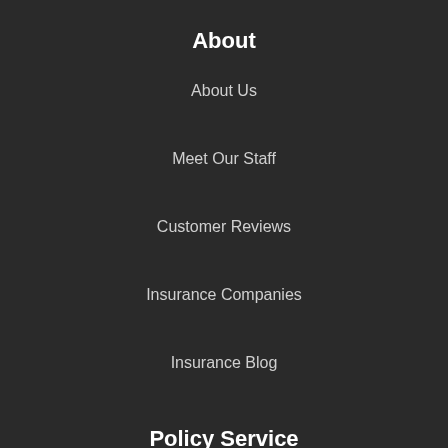About
About Us
Meet Our Staff
Customer Reviews
Insurance Companies
Insurance Blog
Policy Service